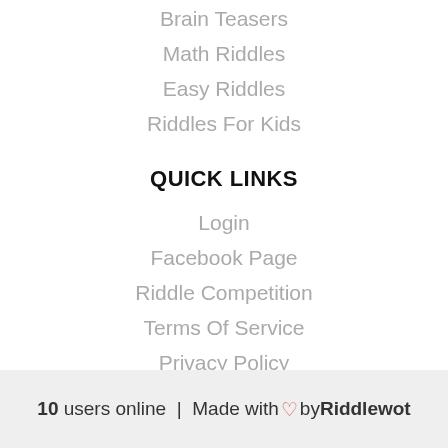Brain Teasers
Math Riddles
Easy Riddles
Riddles For Kids
QUICK LINKS
Login
Facebook Page
Riddle Competition
Terms Of Service
Privacy Policy
10 users online | Made with ♡ by Riddlewot